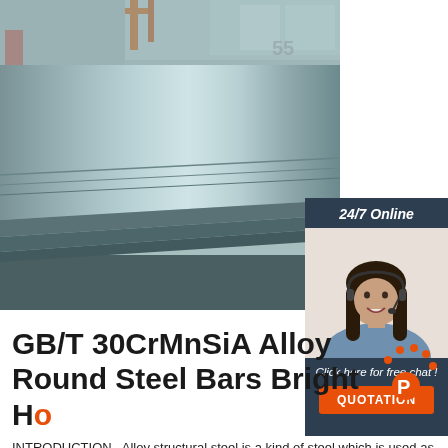[Figure (photo): Steel plates stacked in an industrial warehouse, viewed at an angle showing their flat surfaces with overhead lighting and industrial structure in background]
[Figure (infographic): 24/7 Online chat box with dark navy background, image of female customer service agent with headset, text 'Click here for free chat!' and orange QUOTATION button]
GB/T 30CrMnSiA Alloy Round Steel Bars Bright Ho
INTRODUCTION . Alloy structural steel is a kind of steel which is used as mechanical parts and